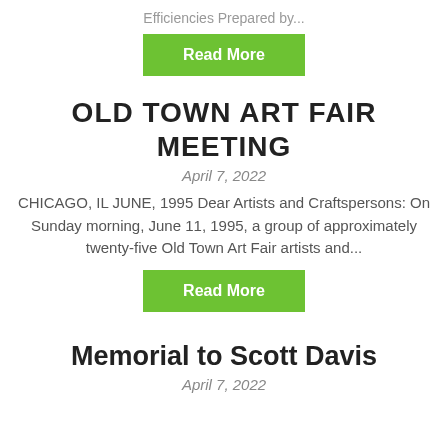Efficiencies Prepared by...
Read More
OLD TOWN ART FAIR MEETING
April 7, 2022
CHICAGO, IL JUNE, 1995 Dear Artists and Craftspersons: On Sunday morning, June 11, 1995, a group of approximately twenty-five Old Town Art Fair artists and...
Read More
Memorial to Scott Davis
April 7, 2022